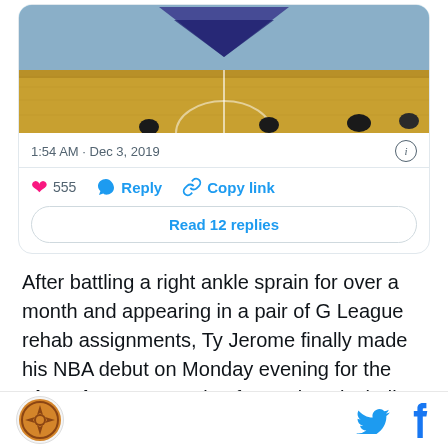[Figure (screenshot): Screenshot of a tweet card showing a basketball court floor with team logo, timestamp 1:54 AM · Dec 3, 2019, 555 likes, Reply and Copy link actions, and Read 12 replies button]
After battling a right ankle sprain for over a month and appearing in a pair of G League rehab assignments, Ty Jerome finally made his NBA debut on Monday evening for the Phoenix Suns, scoring four points, including the two above, to go along with four assists
Site logo | Twitter icon | Facebook icon